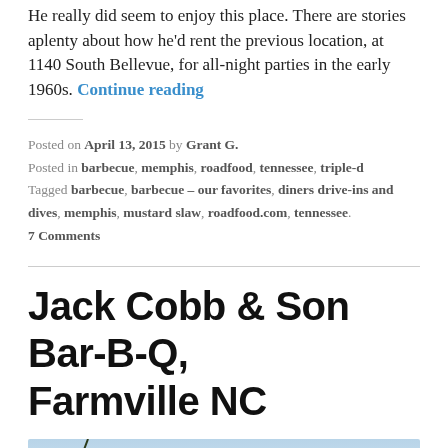He really did seem to enjoy this place. There are stories aplenty about how he'd rent the previous location, at 1140 South Bellevue, for all-night parties in the early 1960s. Continue reading
Posted on April 13, 2015 by Grant G.
Posted in barbecue, memphis, roadfood, tennessee, triple-d
Tagged barbecue, barbecue – our favorites, diners drive-ins and dives, memphis, mustard slaw, roadfood.com, tennessee.
7 Comments
Jack Cobb & Son Bar-B-Q, Farmville NC
[Figure (photo): A photo showing pine tree branches against a light blue sky]